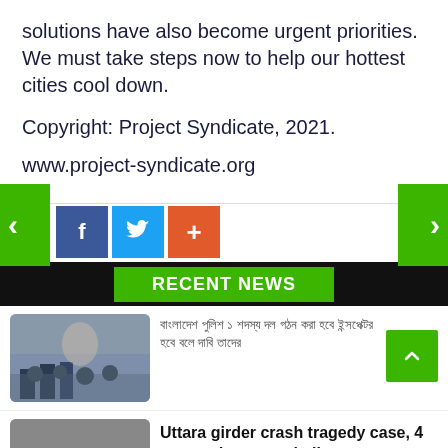solutions have also become urgent priorities. We must take steps now to help our hottest cities cool down.
Copyright: Project Syndicate, 2021.
www.project-syndicate.org
RECENT NEWS
[Bengali text - news headline 1]
[Figure (photo): Street scene with people and police]
Uttara girder crash tragedy case, 4 arrested men get bail
[Figure (photo): Accident scene with damaged vehicles]
[Figure (photo): Partial third news item thumbnail]